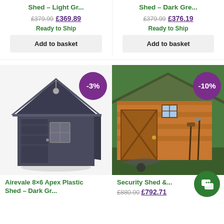Shed – Light Gr...
£379.99 £369.89
Ready to Ship
Add to basket
Shed – Dark Gre...
£379.99 £376.19
Ready to Ship
Add to basket
[Figure (photo): Airevale 8x6 Apex Plastic Shed in dark grey with a -3% discount badge]
Airevale 8×6 Apex Plastic Shed – Dark Gr...
[Figure (photo): Security shed, wooden orange/brown exterior with green roof, garden tools visible, -10% badge]
Security Shed &...
£880.00 £792.71